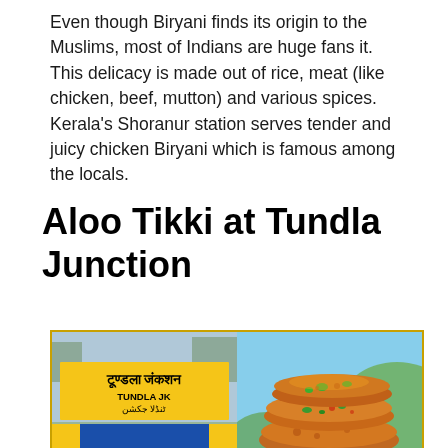Even though Biryani finds its origin to the Muslims, most of Indians are huge fans it. This delicacy is made out of rice, meat (like chicken, beef, mutton) and various spices. Kerala's Shoranur station serves tender and juicy chicken Biryani which is famous among the locals.
Aloo Tikki at Tundla Junction
[Figure (photo): Two-panel composite image: left panel shows Tundla Junction railway station sign board in Hindi (टूण्डला जंकशन) and English (TUNDLA JK) with Urdu script, on yellow background with blue bar; right panel shows golden fried Aloo Tikki patties stacked, garnished with green peppers and spices, on a light blue/green background.]